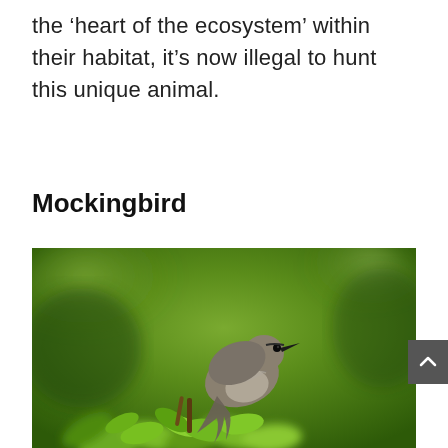the ‘heart of the ecosystem’ within their habitat, it’s now illegal to hunt this unique animal.
Mockingbird
[Figure (photo): A mockingbird perched on green leafy branches against a blurred green background. The bird has gray-brown plumage with lighter wing markings and a slender pointed beak.]